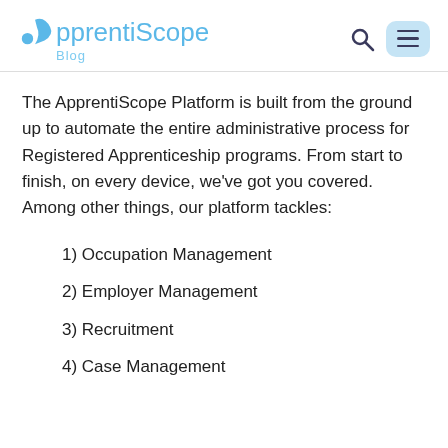ApprentiScope Blog
The ApprentiScope Platform is built from the ground up to automate the entire administrative process for Registered Apprenticeship programs. From start to finish, on every device, we've got you covered. Among other things, our platform tackles:
1) Occupation Management
2) Employer Management
3) Recruitment
4) Case Management